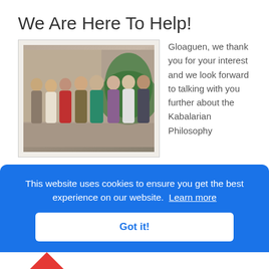We Are Here To Help!
[Figure (photo): Group photo of approximately 9 people standing together in front of a Christmas tree, taken indoors.]
Gloaguen, we thank you for your interest and we look forward to talking with you further about the Kabalarian Philosophy after you have read your Name and Birth Date Report. If you require further assistance, please call our head office in Vancouver, Canada toll-free at 866-489-1188 (or 604-263-9551 if
This website uses cookies to ensure you get the best experience on our website. Learn more
Got it!